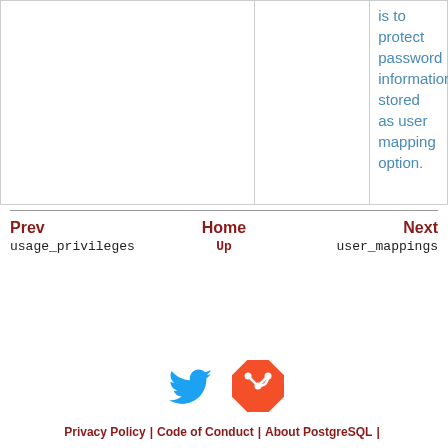|  |  | is to protect password information stored as user mapping option. |
Prev | Home | Next
usage_privileges | Up | user_mappings
[Figure (illustration): Twitter bird icon (blue) and Git logo icon (orange/red diamond shape) side by side]
Privacy Policy | Code of Conduct | About PostgreSQL |